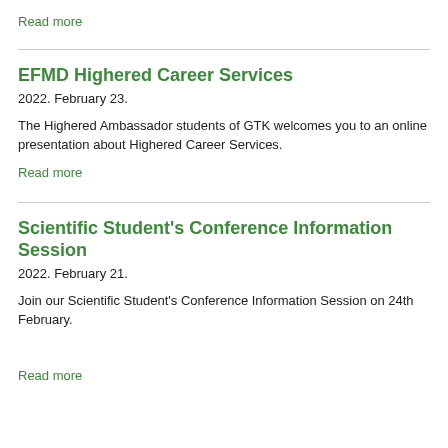Read more
EFMD Highered Career Services
2022. February 23.
The Highered Ambassador students of GTK welcomes you to an online presentation about Highered Career Services.
Read more
Scientific Student's Conference Information Session
2022. February 21.
Join our Scientific Student's Conference Information Session on 24th February.
Read more